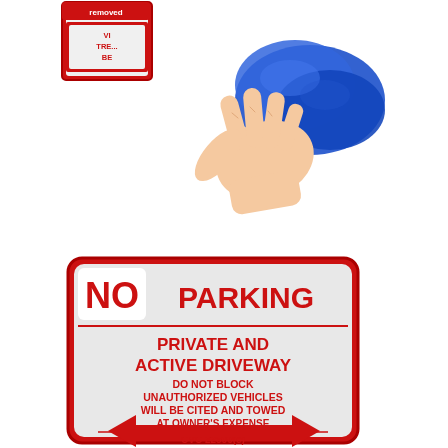[Figure (photo): A hand holding a blue cloth cleaning a red and white parking sign. In the top left corner is a smaller red and white sign partially visible with text 'removed' visible. The main sign below reads: NO PARKING - PRIVATE AND ACTIVE DRIVEWAY - DO NOT BLOCK UNAUTHORIZED VEHICLES WILL BE CITED AND TOWED AT OWNER'S EXPENSE - CVC 22500(e) - with a double-headed red arrow at the bottom.]